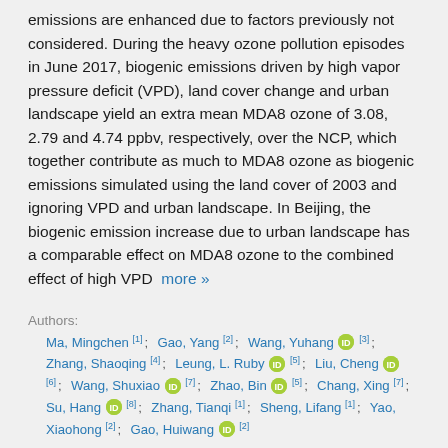emissions are enhanced due to factors previously not considered. During the heavy ozone pollution episodes in June 2017, biogenic emissions driven by high vapor pressure deficit (VPD), land cover change and urban landscape yield an extra mean MDA8 ozone of 3.08, 2.79 and 4.74 ppbv, respectively, over the NCP, which together contribute as much to MDA8 ozone as biogenic emissions simulated using the land cover of 2003 and ignoring VPD and urban landscape. In Beijing, the biogenic emission increase due to urban landscape has a comparable effect on MDA8 ozone to the combined effect of high VPD  more »
Authors:
Ma, Mingchen [1]; Gao, Yang [2]; Wang, Yuhang [ORCID] [3]; Zhang, Shaoqing [4]; Leung, L. Ruby [ORCID] [5]; Liu, Cheng [ORCID] [6]; Wang, Shuxiao [ORCID] [7]; Zhao, Bin [ORCID] [5]; Chang, Xing [7]; Su, Hang [ORCID] [8]; Zhang, Tianqi [1]; Sheng, Lifang [1]; Yao, Xiaohong [2]; Gao, Huiwang [ORCID] [2]